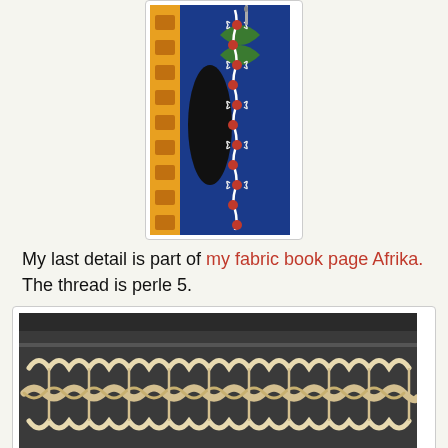[Figure (photo): Close-up of embroidery on colorful African fabric with red beads and white thread chain stitches on dark blue/black background, partially cropped at top]
My last detail is part of my fabric book page Afrika. The thread is perle 5.
[Figure (photo): Close-up photograph of triple chain stitch embroidery in cream/white thread on dark grey/black and orange patterned fabric]
There are more old samples of triple chain stitch from other participants in the Flickr TASTgroup.
Annet op 17:39    8 opmerkingen: